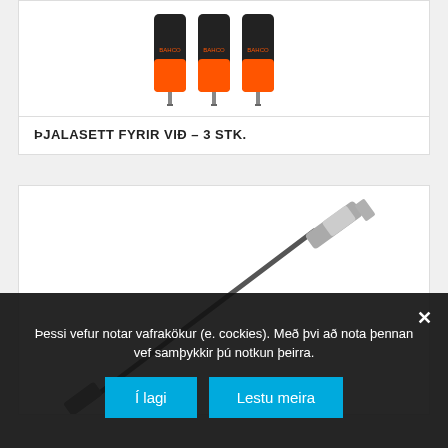[Figure (photo): Three screwdrivers with black and orange handles arranged side by side]
ÞJALASETT FYRIR VIÐ – 3 STK.
[Figure (photo): A flexible extension screwdriver shaft, long and angled, with a metallic tip]
Þessi vefur notar vafrakökur (e. cockies). Með þvi að nota þennan vef samþykkir þú notkun þeirra.
Í lagi
Lestu meira